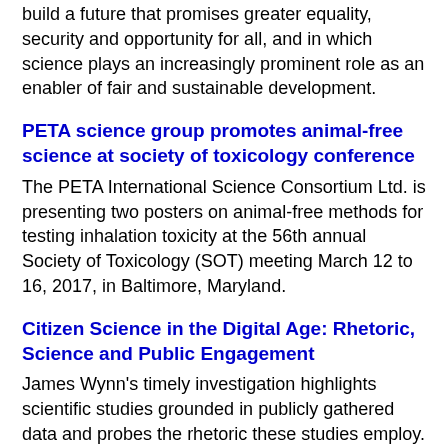build a future that promises greater equality, security and opportunity for all, and in which science plays an increasingly prominent role as an enabler of fair and sustainable development.
PETA science group promotes animal-free science at society of toxicology conference
The PETA International Science Consortium Ltd. is presenting two posters on animal-free methods for testing inhalation toxicity at the 56th annual Society of Toxicology (SOT) meeting March 12 to 16, 2017, in Baltimore, Maryland.
Citizen Science in the Digital Age: Rhetoric, Science and Public Engagement
James Wynn's timely investigation highlights scientific studies grounded in publicly gathered data and probes the rhetoric these studies employ.